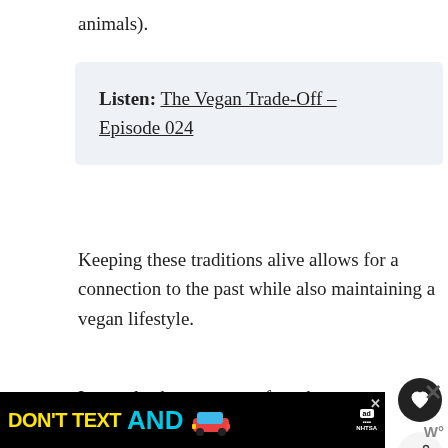animals).
Listen: The Vegan Trade-Off – Episode 024
Keeping these traditions alive allows for a connection to the past while also maintaining a vegan lifestyle.
It can also be a gateway for others to try veganism as they are more likely to try something familiar to them.
[Figure (other): Ad banner: DON'T TEXT AND [car emoji] with NHTSA logo and close buttons. Also social share buttons (heart and share icon) on right side.]